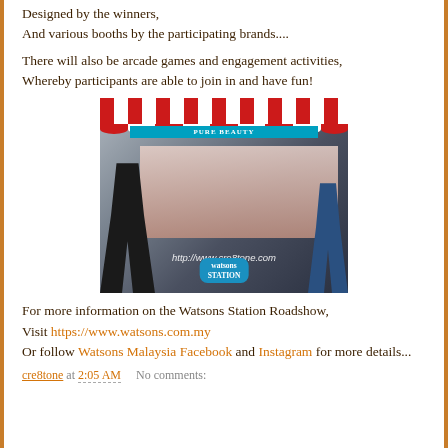Designed by the winners,
And various booths by the participating brands....
There will also be arcade games and engagement activities,
Whereby participants are able to join in and have fun!
[Figure (photo): Photo of a Watsons Station branded booth with red and white awning stripes, Pure Beauty sign, colorful products displayed, and people around it. Watermark: http://www.cre8tone.com]
For more information on the Watsons Station Roadshow,
Visit https://www.watsons.com.my
Or follow Watsons Malaysia Facebook and Instagram for more details...
cre8tone at 2:05 AM    No comments: